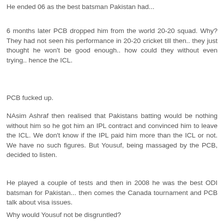He ended 06 as the best batsman Pakistan had...
6 months later PCB dropped him from the world 20-20 squad. Why? They had not seen his performance in 20-20 cricket till then.. they just thought he won't be good enough.. how could they without even trying.. hence the ICL.
PCB fucked up.
NAsim Ashraf then realised that Pakistans batting would be nothing without him so he got him an IPL contract and convinced him to leave the ICL. We don't know if the IPL paid him more than the ICL or not. We have no such figures. But Yousuf, being massaged by the PCB, decided to listen.
He played a couple of tests and then in 2008 he was the best ODI batsman for Pakistan... then comes the Canada tournament and PCB talk about visa issues.
Why would Yousuf not be disgruntled?